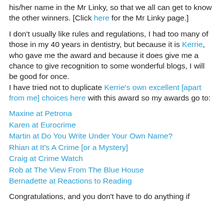his/her name in the Mr Linky, so that we all can get to know the other winners. [Click here for the Mr Linky page.]
I don't usually like rules and regulations, I had too many of those in my 40 years in dentistry, but because it is Kerrie, who gave me the award and because it does give me a chance to give recognition to some wonderful blogs, I will be good for once.
I have tried not to duplicate Kerrie's own excellent [apart from me] choices here with this award so my awards go to:
Maxine at Petrona
Karen at Eurocrime
Martin at Do You Write Under Your Own Name?
Rhian at It's A Crime [or a Mystery]
Craig at Crime Watch
Rob at The View From The Blue House
Bernadette at Reactions to Reading
Congratulations, and you don't have to do anything if